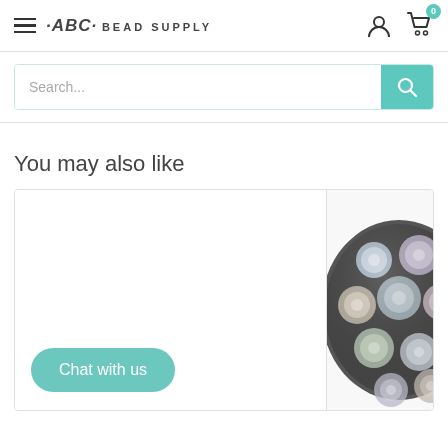ABC Bead Supply — navigation header with hamburger menu, logo, user icon, cart icon with badge 0
Search...
You may also like
[Figure (screenshot): Two product cards side by side. Left card is blank white with a 'Chat with us' teal button at the bottom. Right card shows a photo of assorted iridescent/AB glass beads in a dark bowl.]
Chat with us